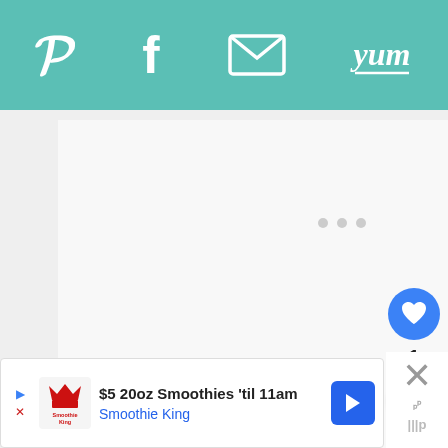Pinterest, Facebook, Email, Yum sharing toolbar
[Figure (screenshot): Gray content loading area with three small dots indicating loading state]
[Figure (infographic): Blue heart/favorite button with count 1 and white share button on right side]
[Figure (infographic): Advertisement banner: $5 20oz Smoothies til 11am - Smoothie King, with blue arrow button and close X]
1
$5 20oz Smoothies 'til 11am
Smoothie King